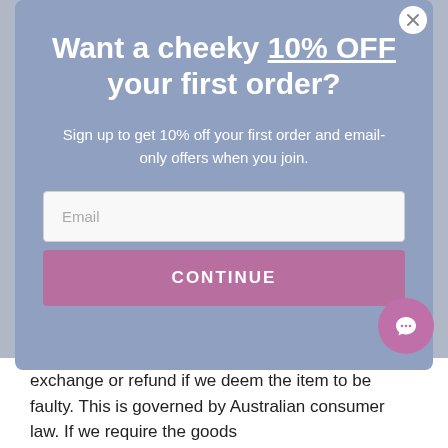Want a cheeky 10% OFF your first order?
Sign up to get 10% off your first order and email-only offers when you join.
Email
CONTINUE
exchange or refund if we deem the item to be faulty. This is governed by Australian consumer law. If we require the goods